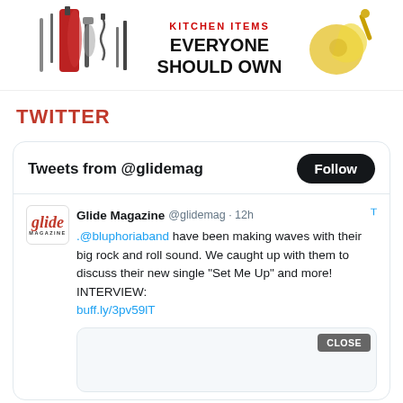[Figure (infographic): Banner advertisement showing kitchen items with bold text 'EVERYONE SHOULD OWN' with kitchen tool icons on left and a lemon squeezer on the right]
TWITTER
[Figure (screenshot): Twitter widget showing 'Tweets from @glidemag' header with Follow button, and a tweet from Glide Magazine @glidemag 12h ago: '.@bluphoriaband have been making waves with their big rock and roll sound. We caught up with them to discuss their new single "Set Me Up" and more! INTERVIEW: buff.ly/3pv59lT' with a media card preview showing a CLOSE button]